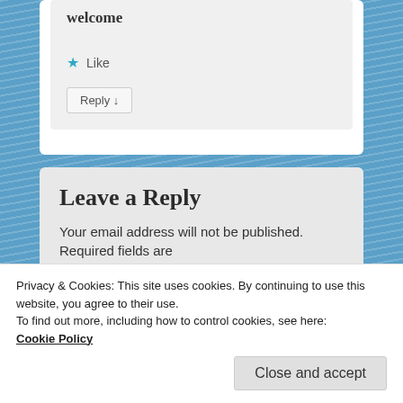welcome
★ Like
Reply ↓
Leave a Reply
Your email address will not be published. Required fields are
Privacy & Cookies: This site uses cookies. By continuing to use this website, you agree to their use.
To find out more, including how to control cookies, see here:
Cookie Policy
Close and accept